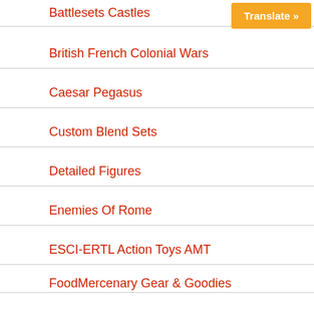Battlesets Castles
British French Colonial Wars
Caesar Pegasus
Custom Blend Sets
Detailed Figures
Enemies Of Rome
ESCI-ERTL Action Toys AMT
FoodMercenary Gear & Goodies
HAT Waterloo 1815
HO Civil War Trains & Acc.
Imex Italeri Emhar
Medieval Times